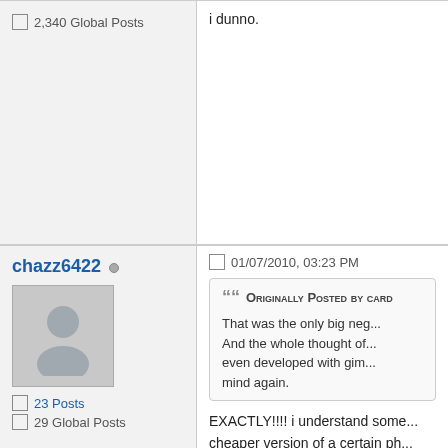2,340 Global Posts
i dunno.
chazz6422
23 Posts
29 Global Posts
01/07/2010, 03:23 PM
Originally Posted by card
That was the only big ne... And the whole thought of... even developed with gim... mind again.
EXACTLY!!!! i understand some... cheaper version of a certain ph... dumbed the pixi down waaaayy... bought a Pixi for my girl becaus... IT.... oh well, i'm happy with my